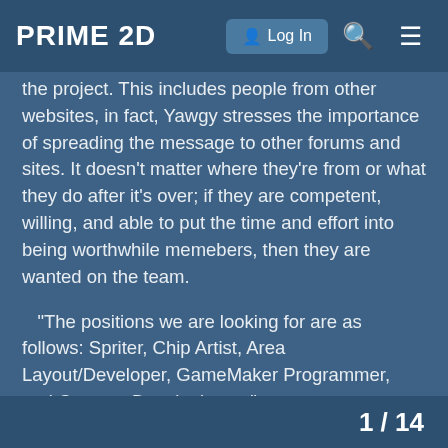PRIME 2D   Log In
the project. This includes people from other websites, in fact, Yawgy stresses the importance of spreading the message to other forums and sites. It doesn't matter where they're from or what they do after it's over; if they are competent, willing, and able to put the time and effort into being worthwhile memebers, then they are wanted on the team.
“The positions we are looking for are as follows: Spriter, Chip Artist, Area Layout/Developer, GameMaker Programmer, and Concept Developlment.”
Spriters will be making sprites of characters, virii, objects, and backgrounds/areas. If you (or anyone else) wants to apply, write down what you are best in, what you want to work on, and if there’s anything you absolutely do not want to do. As many people will be accepted as needed. This isn’t a contest, so don’t worry about competition. As long as you provide d in.
1 / 14